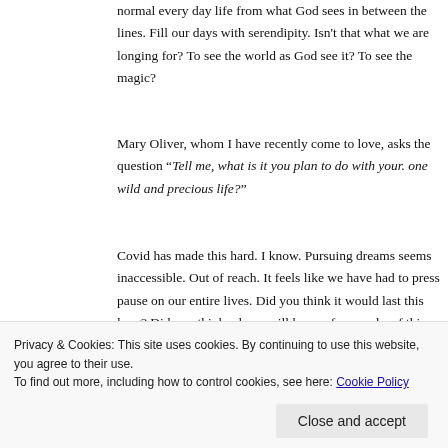normal every day life from what God sees in between the lines. Fill our days with serendipity. Isn't that what we are longing for? To see the world as God see it? To see the magic?
Mary Oliver, whom I have recently come to love, asks the question “Tell me, what is it you plan to do with your. one wild and precious life?”
Covid has made this hard. I know. Pursuing dreams seems inaccessible. Out of reach. It feels like we have had to press pause on our entire lives. Did you think it would last this long? Did you think, oh we will have a few weeks of this, maybe a month and then we will be
Privacy & Cookies: This site uses cookies. By continuing to use this website, you agree to their use.
To find out more, including how to control cookies, see here: Cookie Policy
Close and accept